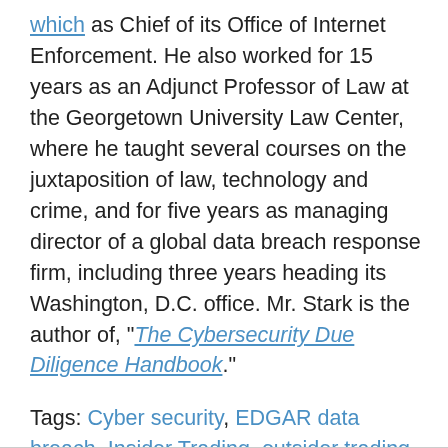which as Chief of its Office of Internet Enforcement. He also worked for 15 years as an Adjunct Professor of Law at the Georgetown University Law Center, where he taught several courses on the juxtaposition of law, technology and crime, and for five years as managing director of a global data breach response firm, including three years heading its Washington, D.C. office. Mr. Stark is the author of, “The Cybersecurity Due Diligence Handbook.”
Tags: Cyber security, EDGAR data breach, Insider Trading, outsider trading liability
[Figure (other): Social sharing icons: print, email, Twitter, Facebook, LinkedIn — rendered in light gray]